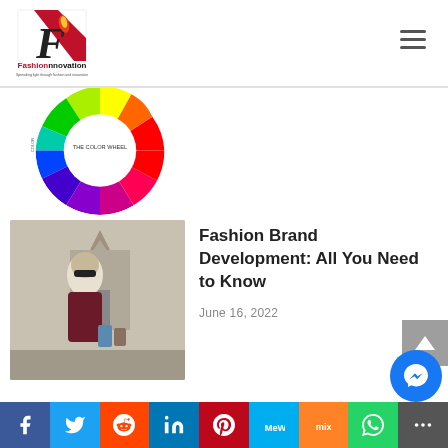Fashionnovation — Spreading light through fashion and innovation
[Figure (other): Fashionnovation logo with stylized F and flame icon, tagline 'Spreading light through fashion and innovation']
[Figure (other): Partially visible color wheel diagram with spectral colors]
[Figure (photo): Woman in sunglasses and burgundy jacket carrying shopping bags in front of a cathedral]
Fashion Brand Development: All You Need to Know
June 16, 2022
[Figure (other): Social media share bar with Facebook, Twitter, Reddit, LinkedIn, Pinterest, MeWe, Mix, WhatsApp, and more buttons]